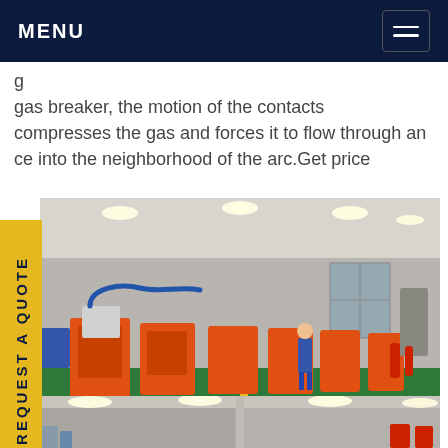MENU
g ... gas breaker, the motion of the contacts compresses the gas and forces it to flow through an ce into the neighborhood of the arc.Get price
[Figure (photo): Factory floor with orange industrial gas equipment and machinery arranged in a row, worker in blue uniform visible, green painted floor]
[Figure (photo): Interior of a factory or workshop with ceiling lights and structural elements visible]